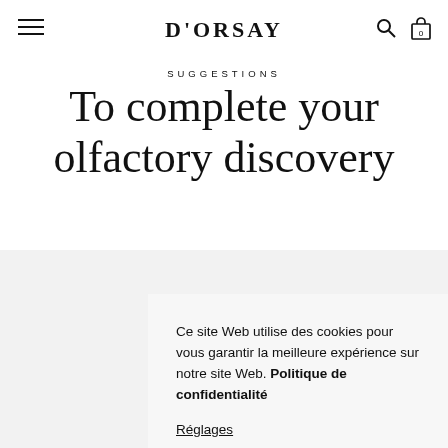D'ORSAY
SUGGESTIONS
To complete your olfactory discovery
Ce site Web utilise des cookies pour vous garantir la meilleure expérience sur notre site Web. Politique de confidentialité
Réglages
Rejeter
Accepter tout